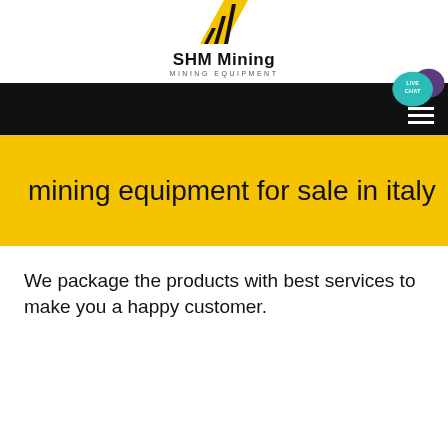[Figure (logo): SHM Mining logo with yellow and black diagonal stripe icon, company name 'SHM Mining' and subtitle 'MINING EQUIPMENT']
[Figure (screenshot): Black navigation bar with hamburger menu icon and a teal live chat bubble with speech icon in the top right]
mining equipment for sale in italy
We package the products with best services to make you a happy customer.